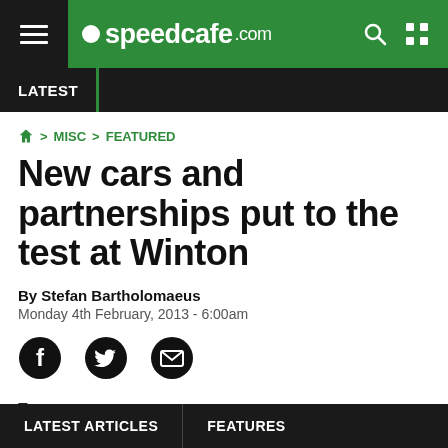speedcafe.com
LATEST
Home > MISC > FEATURED
New cars and partnerships put to the test at Winton
By Stefan Bartholomaeus
Monday 4th February, 2013 - 6:00am
[Figure (other): Social share icons: Facebook, Twitter, Email]
Two
LATEST ARTICLES   FEATURES